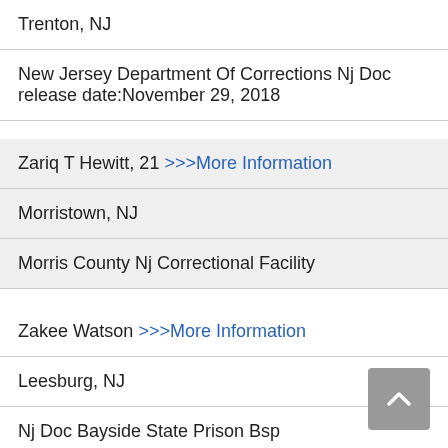Trenton, NJ
New Jersey Department Of Corrections Nj Doc
release date:November 29, 2018
Zariq T Hewitt, 21 >>>More Information
Morristown, NJ
Morris County Nj Correctional Facility
Zakee Watson >>>More Information
Leesburg, NJ
Nj Doc Bayside State Prison Bsp